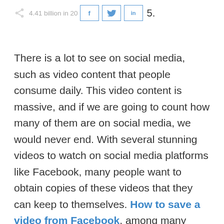4.41 billion in 2025. [social share buttons: f, bird, in]
There is a lot to see on social media, such as video content that people consume daily. This video content is massive, and if we are going to count how many of them are on social media, we would never end. With several stunning videos to watch on social media platforms like Facebook, many people want to obtain copies of these videos that they can keep to themselves. How to save a video from Facebook, among many other social media sites, is possible. Believe it or not, this way is often also offered for free, so you do not pay anything.